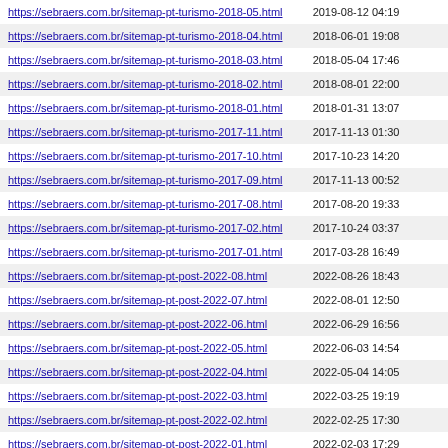| URL | Last Modified |
| --- | --- |
| https://sebraers.com.br/sitemap-pt-turismo-2018-05.html | 2019-08-12 04:19 |
| https://sebraers.com.br/sitemap-pt-turismo-2018-04.html | 2018-06-01 19:08 |
| https://sebraers.com.br/sitemap-pt-turismo-2018-03.html | 2018-05-04 17:46 |
| https://sebraers.com.br/sitemap-pt-turismo-2018-02.html | 2018-08-01 22:00 |
| https://sebraers.com.br/sitemap-pt-turismo-2018-01.html | 2018-01-31 13:07 |
| https://sebraers.com.br/sitemap-pt-turismo-2017-11.html | 2017-11-13 01:30 |
| https://sebraers.com.br/sitemap-pt-turismo-2017-10.html | 2017-10-23 14:20 |
| https://sebraers.com.br/sitemap-pt-turismo-2017-09.html | 2017-11-13 00:52 |
| https://sebraers.com.br/sitemap-pt-turismo-2017-08.html | 2017-08-20 19:33 |
| https://sebraers.com.br/sitemap-pt-turismo-2017-02.html | 2017-10-24 03:37 |
| https://sebraers.com.br/sitemap-pt-turismo-2017-01.html | 2017-03-28 16:49 |
| https://sebraers.com.br/sitemap-pt-post-2022-08.html | 2022-08-26 18:43 |
| https://sebraers.com.br/sitemap-pt-post-2022-07.html | 2022-08-01 12:50 |
| https://sebraers.com.br/sitemap-pt-post-2022-06.html | 2022-06-29 16:56 |
| https://sebraers.com.br/sitemap-pt-post-2022-05.html | 2022-06-03 14:54 |
| https://sebraers.com.br/sitemap-pt-post-2022-04.html | 2022-05-04 14:05 |
| https://sebraers.com.br/sitemap-pt-post-2022-03.html | 2022-03-25 19:19 |
| https://sebraers.com.br/sitemap-pt-post-2022-02.html | 2022-02-25 17:30 |
| https://sebraers.com.br/sitemap-pt-post-2022-01.html | 2022-02-03 17:29 |